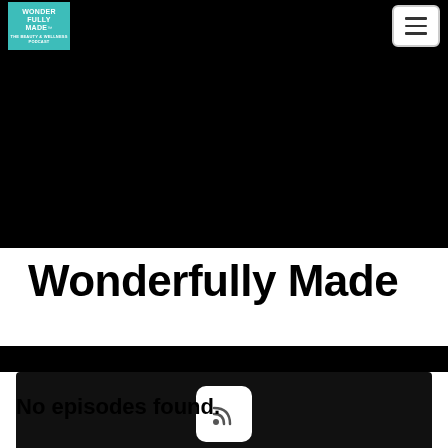Wonderfully Made - navigation bar with logo and hamburger menu
[Figure (screenshot): Black hero image area]
Wonderfully Made
[Figure (other): Black podcast player bar with RSS feed button icon]
No episodes found.